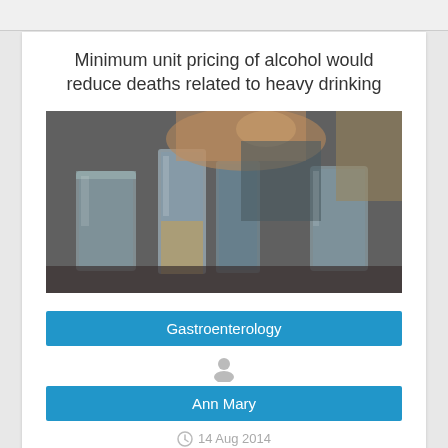Minimum unit pricing of alcohol would reduce deaths related to heavy drinking
[Figure (photo): Photo of several glasses of alcohol on a bar table with a person in the background holding a drink]
Gastroenterology
Ann Mary
14 Aug 2014